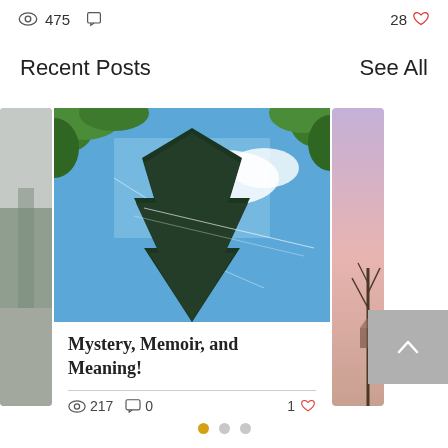475 views, 0 comments, 28 likes
Recent Posts
See All
[Figure (photo): Left partial card showing a gray road/landscape photo]
[Figure (photo): Center card with a photo looking up at a blue sky with sunlight through trees and green foliage]
[Figure (photo): Right partial card showing a purple/pink sky with bare trees]
Mystery, Memoir, and Meaning!
217 views, 0 comments, 1 like